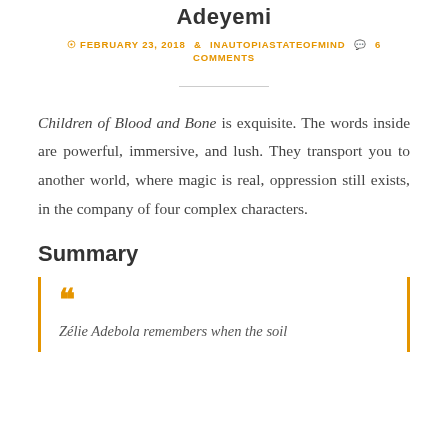Adeyemi
FEBRUARY 23, 2018  INAUTOPIASTATEOFMIND  6 COMMENTS
Children of Blood and Bone is exquisite. The words inside are powerful, immersive, and lush. They transport you to another world, where magic is real, oppression still exists, in the company of four complex characters.
Summary
Zélie Adebola remembers when the soil